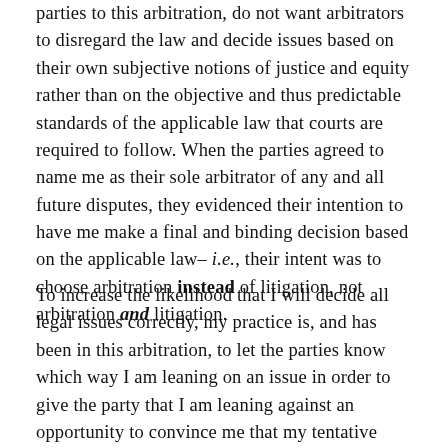parties to this arbitration, do not want arbitrators to disregard the law and decide issues based on their own subjective notions of justice and equity rather than on the objective and thus predictable standards of the applicable law that courts are required to follow. When the parties agreed to name me as their sole arbitrator of any and all future disputes, they evidenced their intention to have me make a final and binding decision based on the applicable law– i.e., their intent was to choose arbitration instead of litigation, not arbitration and litigation.
To increase the likelihood that I will decide all legal issues correctly, my practice is, and has been in this arbitration, to let the parties know which way I am leaning on an issue in order to give the party that I am leaning against an opportunity to convince me that my tentative position is not correct. Thus, before issuing a final award, I send